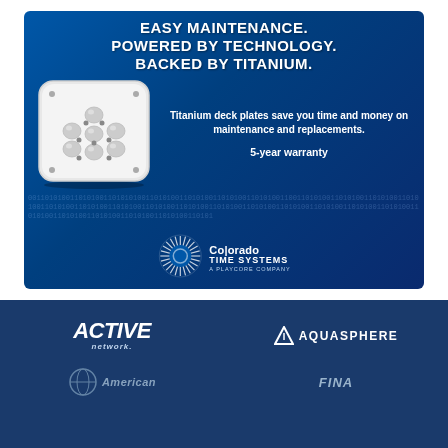[Figure (illustration): Colorado Time Systems advertisement. Blue gradient background with binary code overlay. Shows a white titanium deck plate hardware unit on the left, and text on the right reading 'Titanium deck plates save you time and money on maintenance and replacements. 5-year warranty'. Top headline reads 'EASY MAINTENANCE. POWERED BY TECHNOLOGY. BACKED BY TITANIUM.' Logo at bottom: Colorado Time Systems, A PlayCore Company.]
[Figure (logo): ACTIVE Network logo in white italic text on dark blue background]
[Figure (logo): Aquasphere logo with triangle icon and text in white on dark blue background]
[Figure (logo): Partially visible logo on bottom left (appears to be a globe/sphere icon with partial text)]
[Figure (logo): FINA logo partially visible on bottom right]